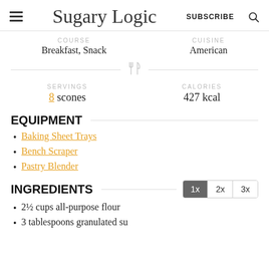Sugary Logic | SUBSCRIBE
COURSE: Breakfast, Snack | CUISINE: American
SERVINGS: 8 scones | CALORIES: 427 kcal
EQUIPMENT
Baking Sheet Trays
Bench Scraper
Pastry Blender
INGREDIENTS
2½ cups all-purpose flour
3 tablespoons granulated sugar